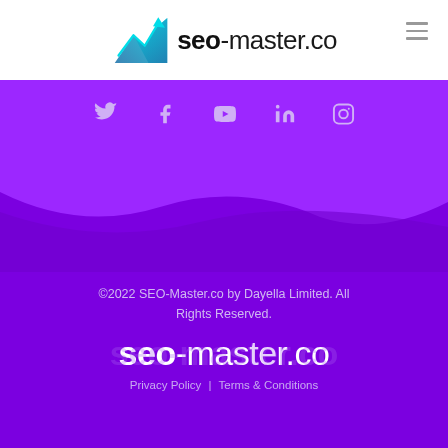[Figure (logo): SEO-Master.co logo with upward trending arrow chart icon in teal/blue gradient, bold 'seo' followed by '-master.co' text, and hamburger menu icon top right]
[Figure (infographic): Purple social media bar with Twitter, Facebook, YouTube, LinkedIn, and Instagram icons in light purple color]
[Figure (illustration): Wave graphic transitioning from bright purple (#9c27ff) to darker purple (#7b00e0) background]
©2022 SEO-Master.co by Dayella Limited. All Rights Reserved.
[Figure (logo): Large white seo-master.co logo on dark purple background]
Privacy Policy | Terms & Conditions